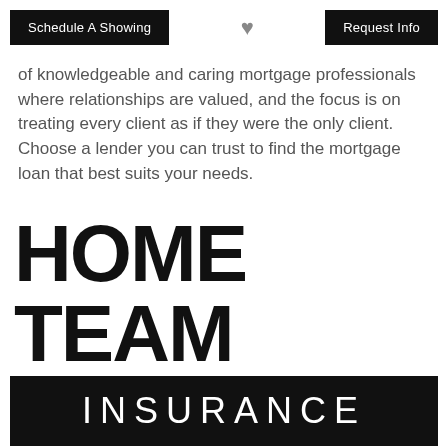Schedule A Showing | [heart icon] | Request Info
of knowledgeable and caring mortgage professionals where relationships are valued, and the focus is on treating every client as if they were the only client. Choose a lender you can trust to find the mortgage loan that best suits your needs.
[Figure (logo): Home Team Insurance logo: large black text 'HOME TEAM' above a black bar with white text 'INSURANCE' in wide letter-spacing]
Home Team...